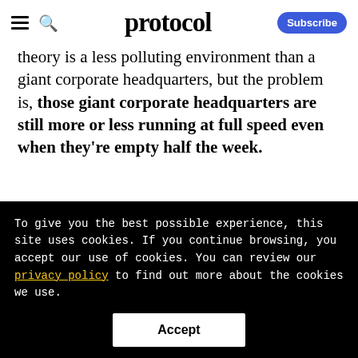protocol
theory is a less polluting environment than a giant corporate headquarters, but the problem is, those giant corporate headquarters are still more or less running at full speed even when they're empty half the week.
To give you the best possible experience, this site uses cookies. If you continue browsing, you accept our use of cookies. You can review our privacy policy to find out more about the cookies we use.
Accept